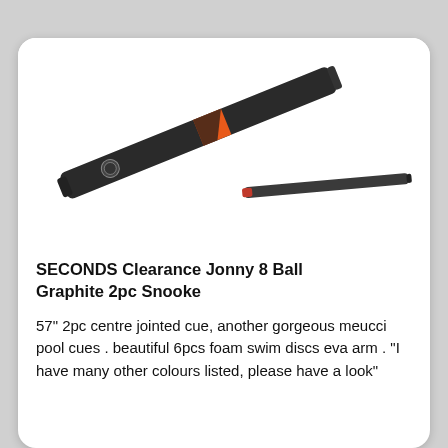[Figure (photo): Two-piece graphite snooker cue shown in two parts: the butt section (larger, dark graphite with orange stripe and logo) and the shaft (thinner, dark with red ferrule tip), both displayed diagonally on a white background.]
SECONDS Clearance Jonny 8 Ball Graphite 2pc Snooke
57" 2pc centre jointed cue, another gorgeous meucci pool cues . beautiful 6pcs foam swim discs eva arm . "I have many other colours listed, please have a look"